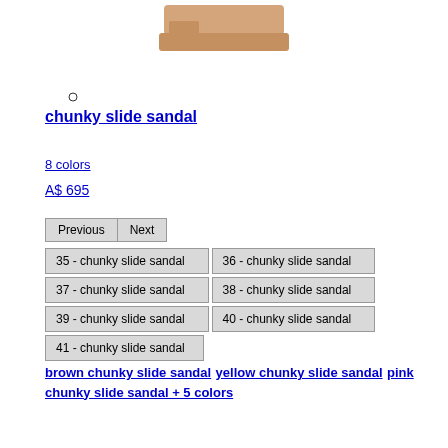[Figure (photo): Partial view of a beige/tan chunky slide sandal shoe at the top of the page]
[Figure (other): Small circle dot indicator (radio button style)]
chunky slide sandal
8 colors
A$ 695
Previous | Next
35 - chunky slide sandal | 36 - chunky slide sandal
37 - chunky slide sandal | 38 - chunky slide sandal
39 - chunky slide sandal | 40 - chunky slide sandal
41 - chunky slide sandal
brown chunky slide sandal yellow chunky slide sandal pink chunky slide sandal + 5 colors